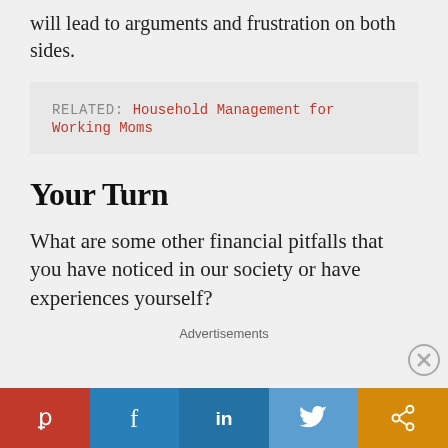will lead to arguments and frustration on both sides.
RELATED: Household Management for Working Moms
Your Turn
What are some other financial pitfalls that you have noticed in our society or have experiences yourself?
Advertisements